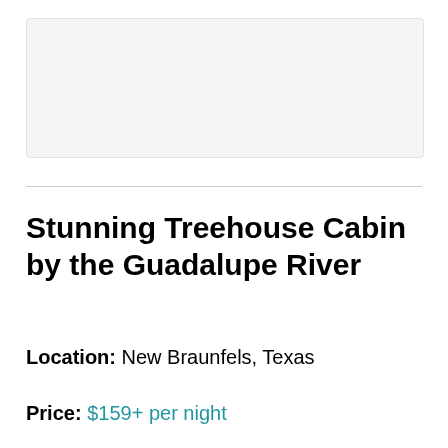[Figure (photo): Light gray image placeholder rectangle representing a property photo]
Stunning Treehouse Cabin by the Guadalupe River
Location: New Braunfels, Texas
Price: $159+ per night